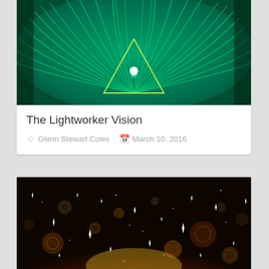[Figure (photo): Green fractal/psychedelic symmetrical art with glowing teal feather-like patterns and a bright triangular light in the center]
The Lightworker Vision
Glenn Stewart Coles   March 10, 2016
[Figure (photo): Dark starry bokeh background with orange and gold glowing light at the bottom and white star sparkles scattered throughout]